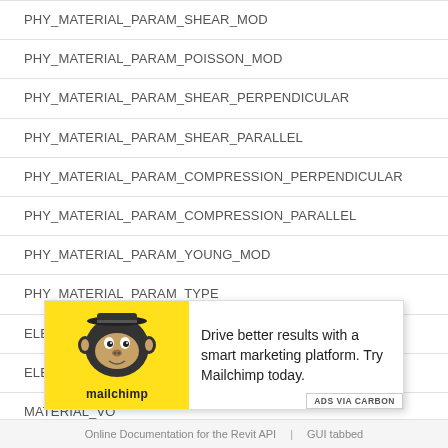PHY_MATERIAL_PARAM_SHEAR_MOD
PHY_MATERIAL_PARAM_POISSON_MOD
PHY_MATERIAL_PARAM_SHEAR_PERPENDICULAR
PHY_MATERIAL_PARAM_SHEAR_PARALLEL
PHY_MATERIAL_PARAM_COMPRESSION_PERPENDICULAR
PHY_MATERIAL_PARAM_COMPRESSION_PARALLEL
PHY_MATERIAL_PARAM_YOUNG_MOD
PHY_MATERIAL_PARAM_TYPE
ELEM_CATEGORY_PARAM_MT
ELEM_CATEGORY_PARAM
MATERIAL_VO...
MATERIAL_AR...
[Figure (other): Mailchimp advertisement overlay: yellow background with Mailchimp monkey logo and text 'Drive better results with a smart marketing platform. Try Mailchimp today.' with 'ADS VIA CARBON' label]
Online Documentation for the Revit API | GUI tabbed